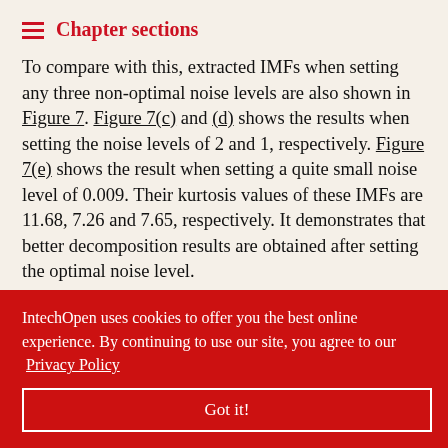Chapter sections
To compare with this, extracted IMFs when setting any three non-optimal noise levels are also shown in Figure 7. Figure 7(c) and (d) shows the results when setting the noise levels of 2 and 1, respectively. Figure 7(e) shows the result when setting a quite small noise level of 0.009. Their kurtosis values of these IMFs are 11.68, 7.26 and 7.65, respectively. It demonstrates that better decomposition results are obtained after setting the optimal noise level.
evel, etermined. igure 8. As the er is less than ntly accelerates the increase in the BNK value. When the
IntechOpen uses cookies to offer you the best online experience. By continuing to use our site, you agree to our Privacy Policy
Got it!